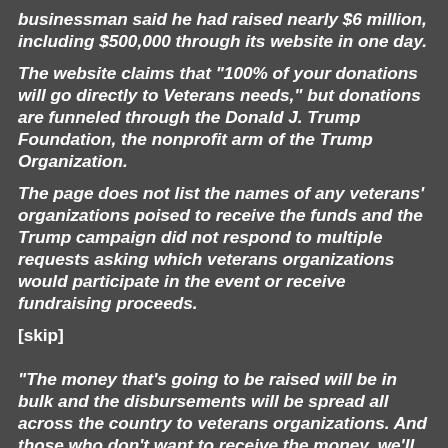businessman said he had raised nearly $6 million, including $500,000 through its website in one day.
The website claims that "100% of your donations will go directly to Veterans needs," but donations are funneled through the Donald J. Trump Foundation, the nonprofit arm of the Trump Organization.
The page does not list the names of any veterans' organizations poised to receive the funds and the Trump campaign did not respond to multiple requests asking which veterans organizations would participate in the event or receive fundraising proceeds.
[skip]
"The money that's going to be raised will be in bulk and the disbursements will be spread all across the country to veterans organizations. And those who don't want to receive the money, we'll make sure not to send them a check," Pierson told Sciutto Thursday on CNN.